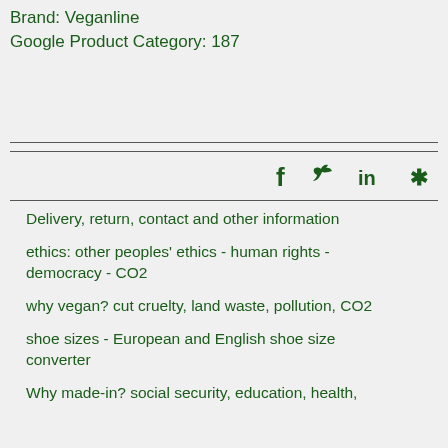Brand: Veganline
Google Product Category: 187
[Figure (other): Social media icons: Facebook, Twitter, LinkedIn, Yelp]
Delivery, return, contact and other information
ethics: other peoples' ethics - human rights - democracy - CO2
why vegan? cut cruelty, land waste, pollution, CO2
shoe sizes - European and English shoe size converter
Why made-in? social security, education, health,